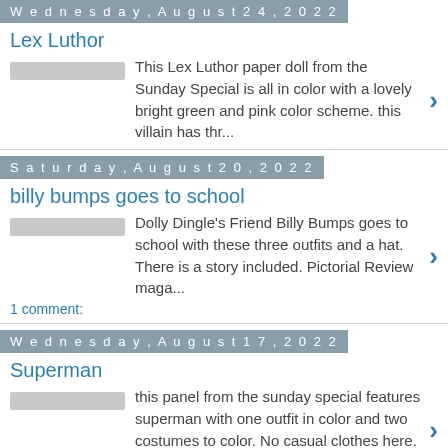Wednesday, August 24, 2022
Lex Luthor
This Lex Luthor paper doll from the Sunday Special is all in color with a lovely bright green and pink color scheme.  this villain has thr...
Saturday, August 20, 2022
billy bumps goes to school
Dolly Dingle's Friend Billy Bumps goes to school with these three outfits and a hat.  There is a story included.  Pictorial Review maga...
1 comment:
Wednesday, August 17, 2022
Superman
this panel from the sunday special features superman with one outfit in color and two costumes to color.  No casual clothes here. This is ...
Saturday, August 13, 2022